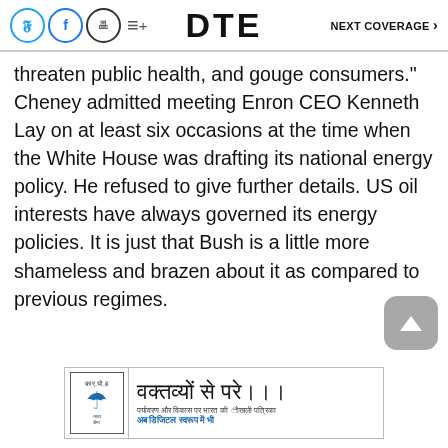DTE   NEXT COVERAGE >
threaten public health, and gouge consumers." Cheney admitted meeting Enron CEO Kenneth Lay on at least six occasions at the time when the White House was drafting its national energy policy. He refused to give further details. US oil interests have always governed its energy policies. It is just that Bush is a little more shameless and brazen about it as compared to previous regimes.
[Figure (infographic): Advertisement banner in Hindi: वक्तव्यों से परे... with subtitle text and DTE logo with umbrella icon]